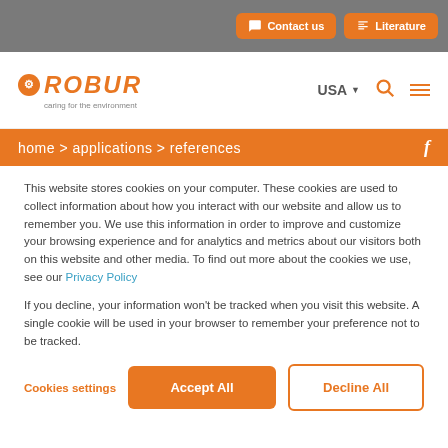Contact us  Literature
[Figure (logo): Robur logo with gear icon and tagline 'caring for the environment', USA selector, search and menu icons]
home > applications > references
This website stores cookies on your computer. These cookies are used to collect information about how you interact with our website and allow us to remember you. We use this information in order to improve and customize your browsing experience and for analytics and metrics about our visitors both on this website and other media. To find out more about the cookies we use, see our Privacy Policy
If you decline, your information won't be tracked when you visit this website. A single cookie will be used in your browser to remember your preference not to be tracked.
Cookies settings  Accept All  Decline All